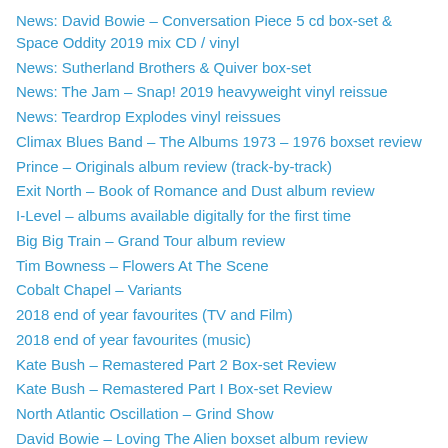News: David Bowie – Conversation Piece 5 cd box-set & Space Oddity 2019 mix CD / vinyl
News: Sutherland Brothers & Quiver box-set
News: The Jam – Snap! 2019 heavyweight vinyl reissue
News: Teardrop Explodes vinyl reissues
Climax Blues Band – The Albums 1973 – 1976 boxset review
Prince – Originals album review (track-by-track)
Exit North – Book of Romance and Dust album review
I-Level – albums available digitally for the first time
Big Big Train – Grand Tour album review
Tim Bowness – Flowers At The Scene
Cobalt Chapel – Variants
2018 end of year favourites (TV and Film)
2018 end of year favourites (music)
Kate Bush – Remastered Part 2 Box-set Review
Kate Bush – Remastered Part I Box-set Review
North Atlantic Oscillation – Grind Show
David Bowie – Loving The Alien boxset album review
Kate Bush – Remastered
Hugh Cornwell – Monster